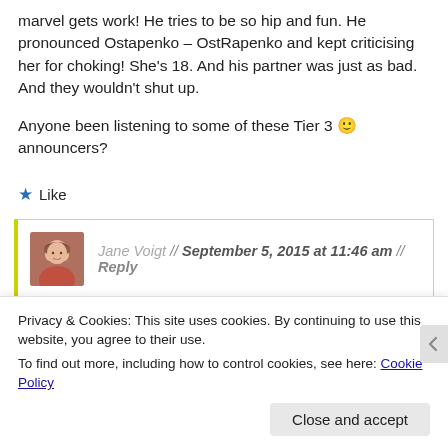marvel gets work! He tries to be so hip and fun. He pronounced Ostapenko – OstRapenko and kept criticising her for choking! She's 18. And his partner was just as bad. And they wouldn't shut up.
Anyone been listening to some of these Tier 3 🙂 announcers?
★ Like
Jane Voigt // September 5, 2015 at 11:46 am // Reply
Privacy & Cookies: This site uses cookies. By continuing to use this website, you agree to their use.
To find out more, including how to control cookies, see here: Cookie Policy
Close and accept